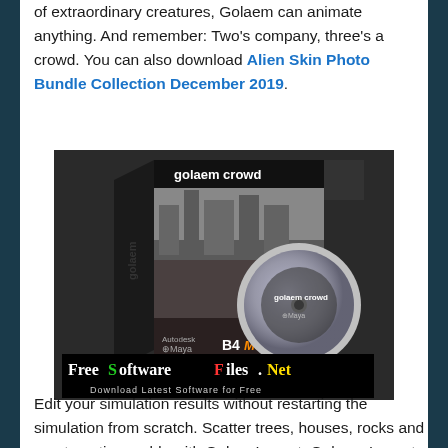of extraordinary creatures, Golaem can animate anything. And remember: Two's company, three's a crowd. You can also download Alien Skin Photo Bundle Collection December 2019.
[Figure (photo): Golaem Crowd software box with DVD disc, showing a castle/ruins scene. Below the box is a FreeSoftwareFiles.Net banner reading 'Download Latest Software for Free'.]
Edit your simulation results without restarting the simulation from scratch. Scatter trees, houses, rocks and create entire worlds with Golem Layout. Golaem Layout provides you with a fast and easy way to scatter objects. Open/Save scenes in a few